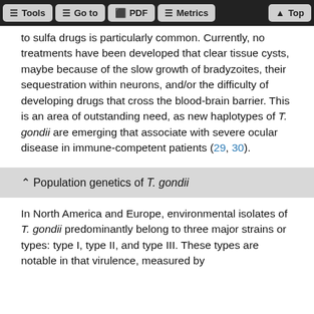Tools  Go to  PDF  Metrics  Top
to sulfa drugs is particularly common. Currently, no treatments have been developed that clear tissue cysts, maybe because of the slow growth of bradyzoites, their sequestration within neurons, and/or the difficulty of developing drugs that cross the blood-brain barrier. This is an area of outstanding need, as new haplotypes of T. gondii are emerging that associate with severe ocular disease in immune-competent patients (29, 30).
↑ Population genetics of T. gondii
In North America and Europe, environmental isolates of T. gondii predominantly belong to three major strains or types: type I, type II, and type III. These types are notable in that virulence, measured by